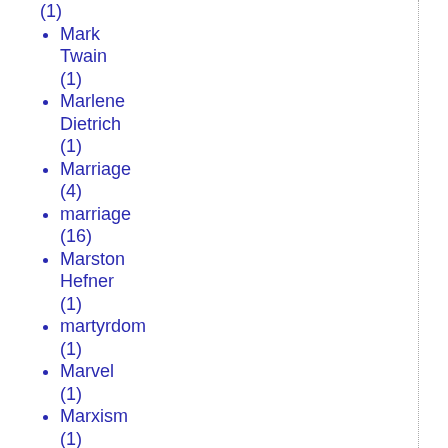(1)
Mark Twain (1)
Marlene Dietrich (1)
Marriage (4)
marriage (16)
Marston Hefner (1)
martyrdom (1)
Marvel (1)
Marxism (1)
Mary (1)
masks (1)
mass